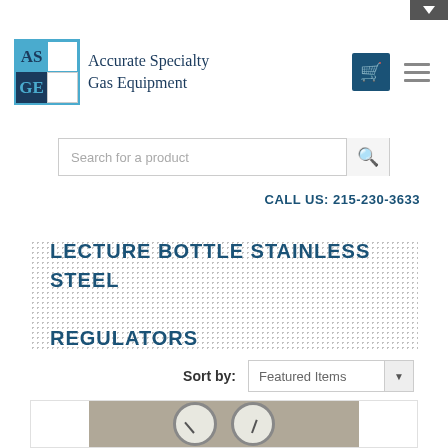[Figure (logo): ASGE logo with blue and navy grid squares and 'Accurate Specialty Gas Equipment' text]
Search for a product
CALL US: 215-230-3633
LECTURE BOTTLE STAINLESS STEEL REGULATORS
Sort by: Featured Items
[Figure (photo): Photo of stainless steel lecture bottle regulators with two pressure gauges on a metal surface]